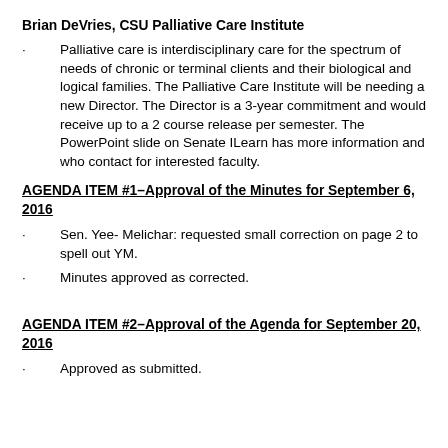Brian DeVries, CSU Palliative Care Institute
Palliative care is interdisciplinary care for the spectrum of needs of chronic or terminal clients and their biological and logical families. The Palliative Care Institute will be needing a new Director.  The Director is a 3-year commitment and  would receive up to a 2 course release per semester.  The PowerPoint slide on Senate ILearn has more information and who contact for interested faculty.
AGENDA ITEM #1–Approval of the Minutes for September 6, 2016
Sen. Yee- Melichar:  requested small correction on page 2 to spell out YM.
Minutes approved as corrected.
AGENDA ITEM #2–Approval of the Agenda for September 20, 2016
Approved as submitted.